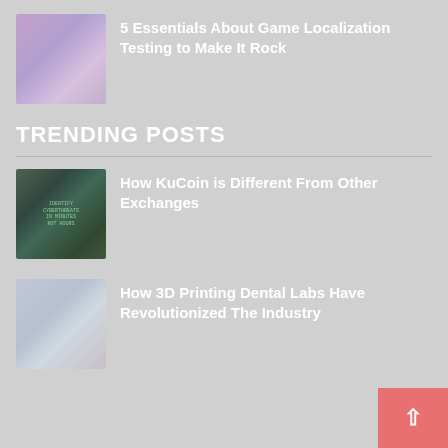[Figure (photo): Thumbnail image with purple/pink hues for game localization article]
5 Essentials About Game Localization Testing to Make It Rock
TRENDING POSTS
[Figure (photo): Thumbnail image with dark green tones for KuCoin article]
How KuCoin is Different From Other Exchanges
[Figure (photo): Thumbnail image with blue/grey tones for dental labs article]
How 3D Printing Dental Labs Have Revolutionized The Industry